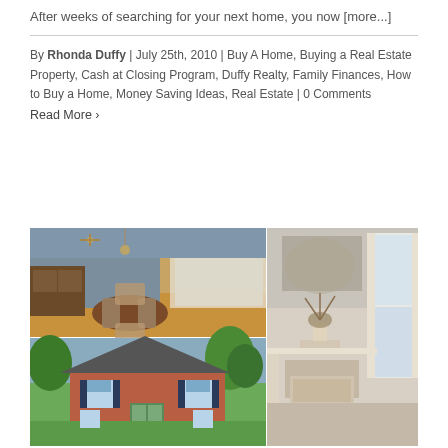After weeks of searching for your next home, you now [more...]
By Rhonda Duffy | July 25th, 2010 | Buy A Home, Buying a Real Estate Property, Cash at Closing Program, Duffy Realty, Family Finances, How to Buy a Home, Money Saving Ideas, Real Estate | 0 Comments
Read More >
[Figure (photo): Collage of three home interior and exterior photos: top-left shows a dining room with round table and ceiling fan, bottom-left shows exterior of a brick colonial house with shutters and green lawn, right side shows a bedroom/living area with fireplace mantel and window with curtains]